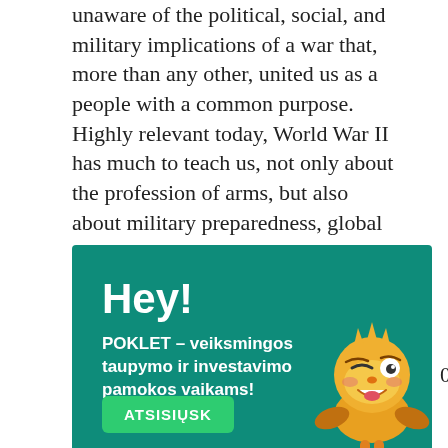unaware of the political, social, and military implications of a war that, more than any other, united us as a people with a common purpose. Highly relevant today, World War II has much to teach us, not only about the profession of arms, but also about military preparedness, global strategy, and combined operations in the coalition war against fascism. During the next several years, the U.S. Army will participate in the nation's 50
[Figure (infographic): Advertisement banner with teal/green background. Large white bold text 'Hey!' followed by bold white text 'POKLET – veiksmingos taupymo ir investavimo pamokos vaikams!' A green 'ATSISIŲSK' button at the bottom left, and a cartoon winking emoji mascot character at the bottom right.]
0th